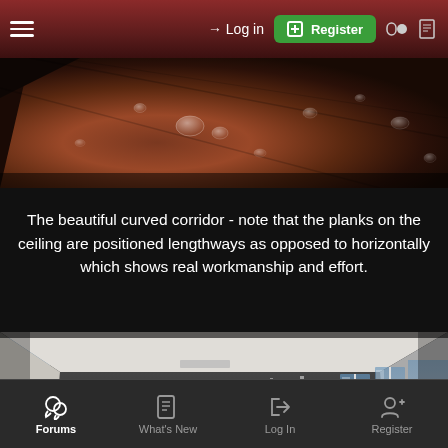≡  → Log in  ⊞ Register  ◑  🗋
[Figure (photo): Close-up of a wet wooden curved ceiling/surface with water droplets visible, brownish-red tones]
The beautiful curved corridor - note that the planks on the ceiling are positioned lengthways as opposed to horizontally which shows real workmanship and effort.
[Figure (photo): Interior view of a long curved corridor with white walls and large windows on the right side, ceiling with panels, perspective view showing curve]
Forums  What's New  Log In  Register